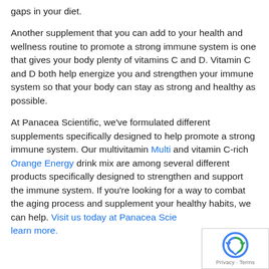gaps in your diet.
Another supplement that you can add to your health and wellness routine to promote a strong immune system is one that gives your body plenty of vitamins C and D. Vitamin C and D both help energize you and strengthen your immune system so that your body can stay as strong and healthy as possible.
At Panacea Scientific, we've formulated different supplements specifically designed to help promote a strong immune system. Our multivitamin Multi and vitamin C-rich Orange Energy drink mix are among several different products specifically designed to strengthen and support the immune system. If you're looking for a way to combat the aging process and supplement your healthy habits, we can help. Visit us today at Panacea Scientific to learn more.